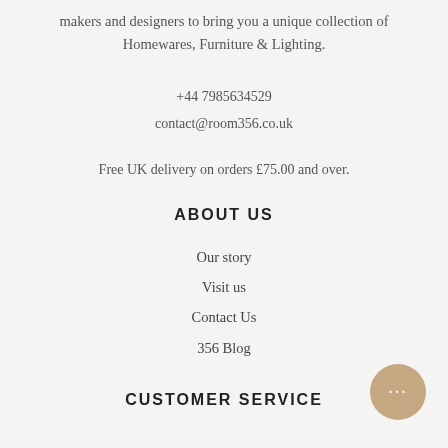makers and designers to bring you a unique collection of Homewares, Furniture & Lighting.
+44 7985634529
contact@room356.co.uk
Free UK delivery on orders £75.00 and over.
ABOUT US
Our story
Visit us
Contact Us
356 Blog
CUSTOMER SERVICE
[Figure (other): Round chat button with ellipsis icon in beige/tan color]